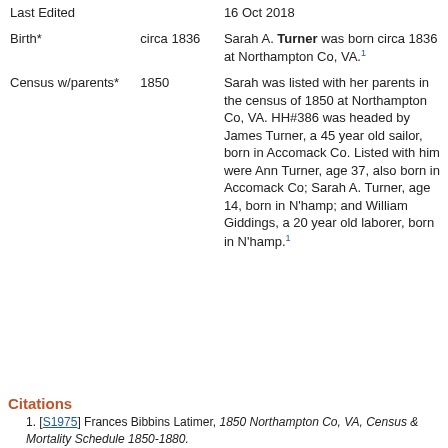|  |  |  |
| --- | --- | --- |
| Last Edited | 16 Oct 2018 |  |
| Birth* | circa 1836 | Sarah A. Turner was born circa 1836 at Northampton Co, VA.[1] |
| Census w/parents* | 1850 | Sarah was listed with her parents in the census of 1850 at Northampton Co, VA. HH#386 was headed by James Turner, a 45 year old sailor, born in Accomack Co. Listed with him were Ann Turner, age 37, also born in Accomack Co; Sarah A. Turner, age 14, born in N'hamp; and William Giddings, a 20 year old laborer, born in N'hamp.[1] |
Citations
1. [S1975] Frances Bibbins Latimer, 1850 Northampton Co, VA, Census & Mortality Schedule 1850-1880.